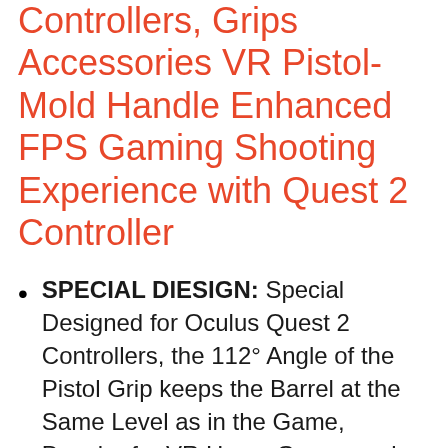Controllers, Grips Accessories VR Pistol-Mold Handle Enhanced FPS Gaming Shooting Experience with Quest 2 Controller
SPECIAL DIESIGN: Special Designed for Oculus Quest 2 Controllers, the 112° Angle of the Pistol Grip keeps the Barrel at the Same Level as in the Game, Popular for VR Home Gamer and VR Game Development Team, VR